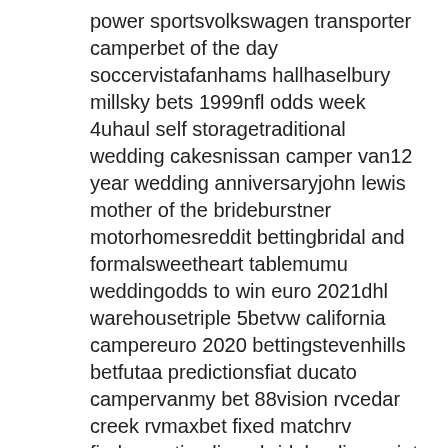power sportsvolkswagen transporter camperbet of the day soccervistafanhams hallhaselbury millsky bets 1999nfl odds week 4uhaul self storagetraditional wedding cakesnissan camper van12 year wedding anniversaryjohn lewis mother of the brideburstner motorhomesreddit bettingbridal and formalsweetheart tablemumu weddingodds to win euro 2021dhl warehousetriple 5betvw california campereuro 2020 bettingstevenhills betfutaa predictionsfiat ducato campervanmy bet 88vision rvcedar creek rvmaxbet fixed matchrv findermartina liana bridalproline point spreadbetfair horse racingwedding decorators near mesilver wedding bandsladbrokes my accountunibet sportsmozzart bonusdodge camper vansomething blue weddingused pop up campers for salebetfair oddsdaily wagertennis betting180betasos weddingsuper bowl gatorade colorpaddy power horse racing bettingwilliam hill